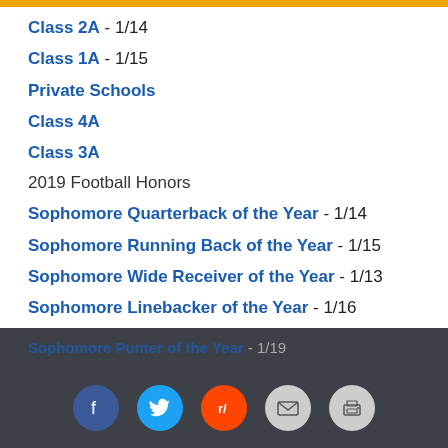Class 2A - 1/14
Class 1A - 1/15
Private Schools
Class 4A
Class 3A
2019 Football Honors
Sophomore Quarterback of the Year - 1/14
Sophomore Running Back of the Year - 1/15
Sophomore Wide Receiver of the Year - 1/13
Sophomore Linebacker of the Year - 1/16
Sophomore Defensive Back of the Year - 1/17
Sophomore Kicker of the Year - 1/18
Sophomore Punter of the Year - 1/19